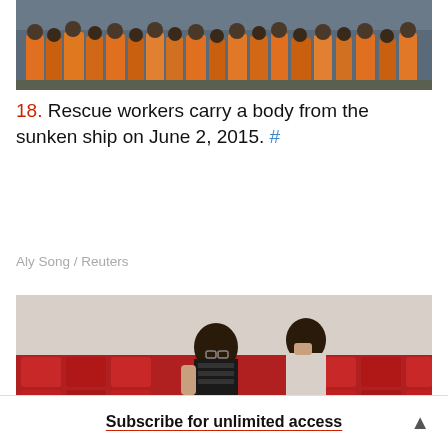[Figure (photo): Rescue workers in orange vests crowded together, viewed from behind, in a rainy/muddy outdoor scene]
18. Rescue workers carry a body from the sunken ship on June 2, 2015. #
Aly Song / Reuters
[Figure (photo): Two people sitting among red chairs in what appears to be an auditorium, one leaning forward covering their face, the other covering their mouth]
Subscribe for unlimited access